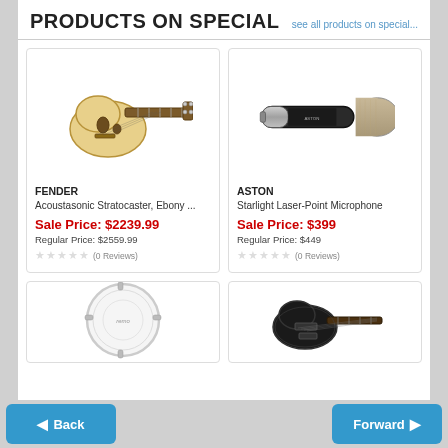PRODUCTS ON SPECIAL
see all products on special...
[Figure (illustration): Fender Acoustasonic Stratocaster electric-acoustic guitar, cream/natural finish]
FENDER
Acoustasonic Stratocaster, Ebony ...
Sale Price: $2239.99
Regular Price: $2559.99
(0 Reviews)
[Figure (illustration): Aston Starlight Laser-Point Microphone, black/silver barrel style]
ASTON
Starlight Laser-Point Microphone
Sale Price: $399
Regular Price: $449
(0 Reviews)
[Figure (illustration): Drum head/snare batter, white, circular]
[Figure (illustration): Black bass guitar, partial view]
Back   Forward